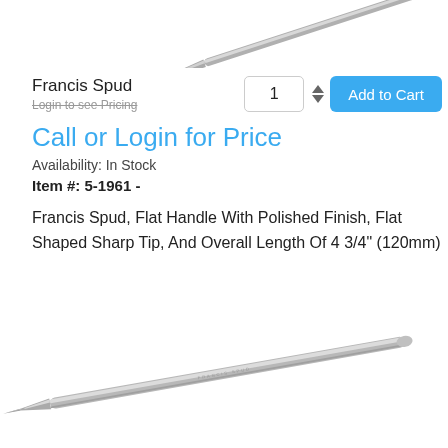[Figure (photo): Partial view of a Francis Spud surgical instrument tip, showing the sharp pointed end against a white background, cropped at top of page.]
Francis Spud
Login to see Pricing
Call or Login for Price
Availability: In Stock
Item #: 5-1961 -
Francis Spud, Flat Handle With Polished Finish, Flat Shaped Sharp Tip, And Overall Length Of 4 3/4" (120mm)
[Figure (photo): Full view of a Francis Spud surgical instrument showing a long slender stainless steel handle with a flat sharp tip at one end, displayed diagonally against a white background.]